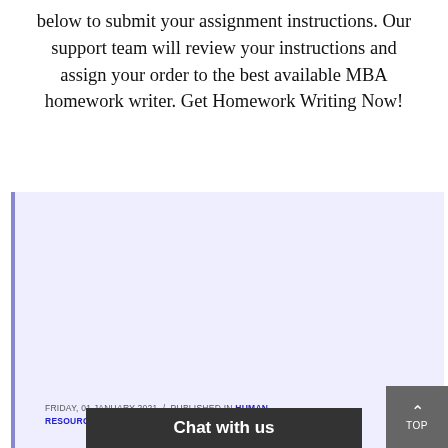below to submit your assignment instructions. Our support team will review your instructions and assign your order to the best available MBA homework writer. Get Homework Writing Now!
FRIDAY, 01 JANUARY 2021 / PUBLISHED IN HUMAN RESOURCE MANAGEMENT
Sample Critical Thinking Paper on Fairness Standards